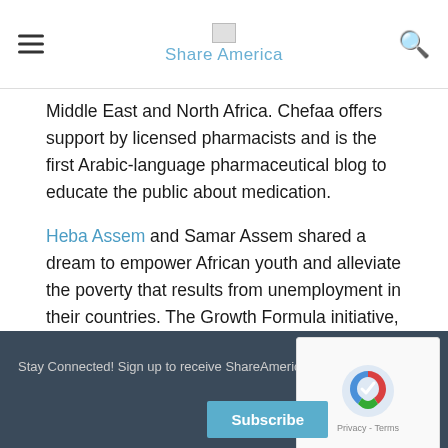Share America
Middle East and North Africa. Chefaa offers support by licensed pharmacists and is the first Arabic-language pharmaceutical blog to educate the public about medication.
Heba Assem and Samar Assem shared a dream to empower African youth and alleviate the poverty that results from unemployment in their countries. The Growth Formula initiative, launched in 2019, helps develop young professionals' job-market readiness through education and experience.
Heba Assem is an entrepreneur with 17 years of experience.
Stay Connected! Sign up to receive ShareAmerica updates.